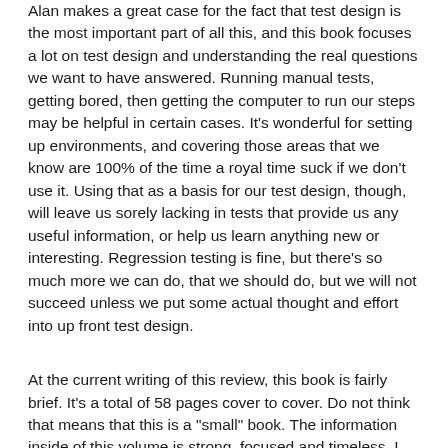Alan makes a great case for the fact that test design is the most important part of all this, and this book focuses a lot on test design and understanding the real questions we want to have answered. Running manual tests, getting bored, then getting the computer to run our steps may be helpful in certain cases. It's wonderful for setting up environments, and covering those areas that we know are 100% of the time a royal time suck if we don't use it. Using that as a basis for our test design, though, will leave us sorely lacking in tests that provide us any useful information, or help us learn anything new or interesting. Regression testing is fine, but there's so much more we can do, that we should do, but we will not succeed unless we put some actual thought and effort into up front test design.
At the current writing of this review, this book is fairly brief. It's a total of 58 pages cover to cover. Do not think that means that this is a "small" book. The information inside of this volume is strong, focused and timeless. I like his take on things. I like where he comes from with his advice. I like that he is real and that he doesn't sugar coat things. Test automation done right is HARD. Test design done right is